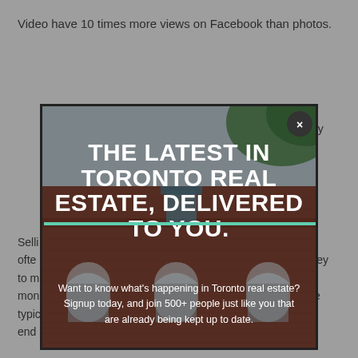Video have 10 times more views on Facebook than photos.
5... really ... tter ... uld ... nce ... wn ... go ... ith
[Figure (photo): Photo of a brick building with arched windows and trees, partially overlaid by a modal popup with text about Toronto real estate]
THE LATEST IN TORONTO REAL ESTATE, DELIVERED TO YOU.
Want to know what's happening in Toronto real estate? Signup today, and join 500+ people just like you that are already being kept up to date.
Selling ... is often ... hey to m... mon... he typic... uld end...